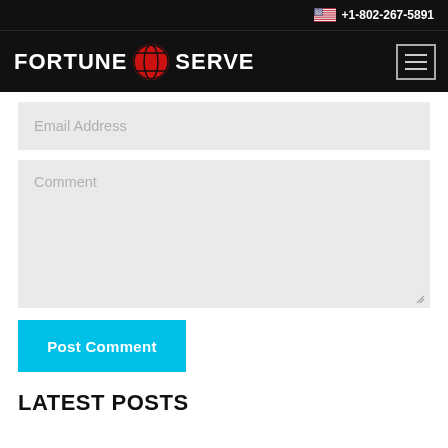+1-802-267-5891
[Figure (logo): Fortune Serve logo with red globe icon on black background]
Email Address
Comment
Post Comment
LATEST POSTS